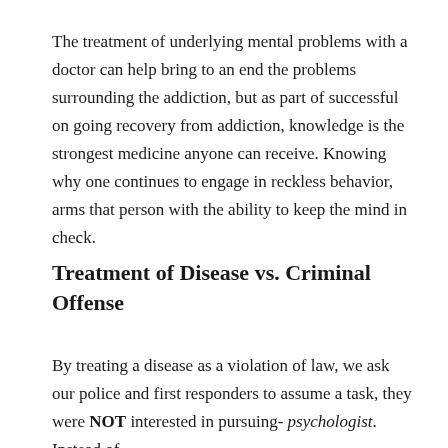The treatment of underlying mental problems with a doctor can help bring to an end the problems surrounding the addiction, but as part of successful on going recovery from addiction, knowledge is the strongest medicine anyone can receive. Knowing why one continues to engage in reckless behavior, arms that person with the ability to keep the mind in check.
Treatment of Disease vs. Criminal Offense
By treating a disease as a violation of law, we ask our police and first responders to assume a task, they were NOT interested in pursuing- psychologist. Instead of